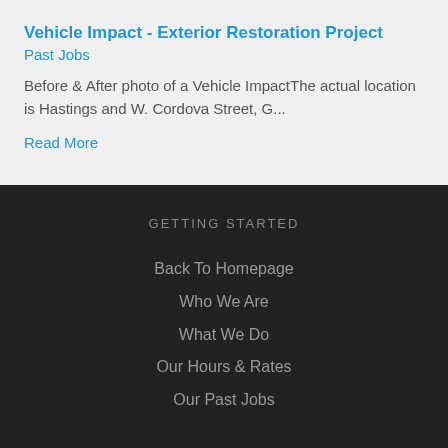Vehicle Impact - Exterior Restoration Project
Past Jobs
Before & After photo of a Vehicle ImpactThe actual location is Hastings and W. Cordova Street, G...
Read More
GETTING STARTED
Back To Homepage
Who We Are
What We Do
Our Hours & Rates
Our Past Jobs